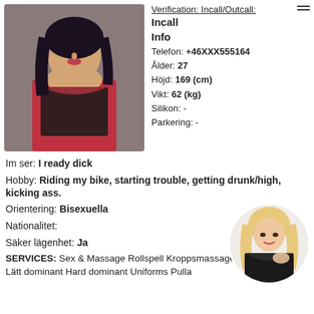[Figure (photo): Main photo of a woman in red lingerie with black lace, dark hair, posing close-up]
Verification: Incall/Outcall:
Incall
Info
Telefon: +46XXX555164
Ålder: 27
Höjd: 169 (cm)
Vikt: 62 (kg)
Silikon: -
Parkering: -
Im ser: I ready dick
Hobby: Riding my bike, starting trouble, getting drunk/high, kicking ass.
Orientering: Bisexuella
Nationalitet:
Säker lägenhet: Ja
[Figure (photo): Circular thumbnail photo of a blonde woman in black lingerie]
SERVICES: Sex & Massage Rollspell Kroppsmassage
Lätt dominant Hard dominant Uniforms Pulla